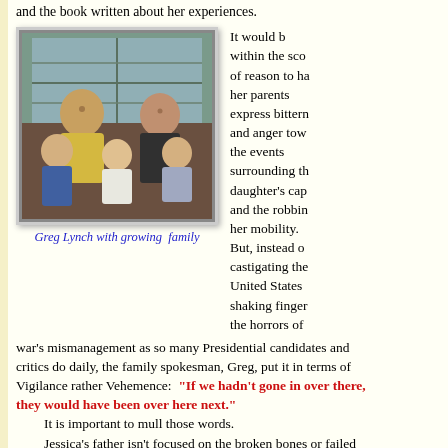and the book written about her experiences.
[Figure (photo): Family photo showing Greg Lynch with his growing family — a man in a yellow shirt, a woman with glasses, and three young children.]
Greg Lynch with growing family
It would be within the scope of reason to have her parents express bitterness and anger toward the events surrounding their daughter's capture and the robbing of her mobility. But, instead of castigating the United States shaking finger at the horrors of war's mismanagement as so many Presidential candidates and critics do daily, the family spokesman, Greg, put it in terms of Vigilance rather Vehemence: "If we hadn't gone in over there, they would have been over here next."
It is important to mull those words.
Jessica's father isn't focused on the broken bones or failed bladder and bowels of his daughter. He doesn't point to the